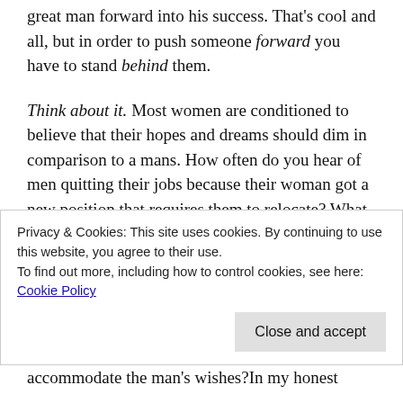great man forward into his success. That's cool and all, but in order to push someone forward you have to stand behind them.
Think about it. Most women are conditioned to believe that their hopes and dreams should dim in comparison to a mans. How often do you hear of men quitting their jobs because their woman got a new position that requires them to relocate? What about men choosing to stay at home with their children while the woman continues to further her career? Hardly ever. You are more than likely to see
Privacy & Cookies: This site uses cookies. By continuing to use this website, you agree to their use.
To find out more, including how to control cookies, see here: Cookie Policy
accommodate the man's wishes?In my honest